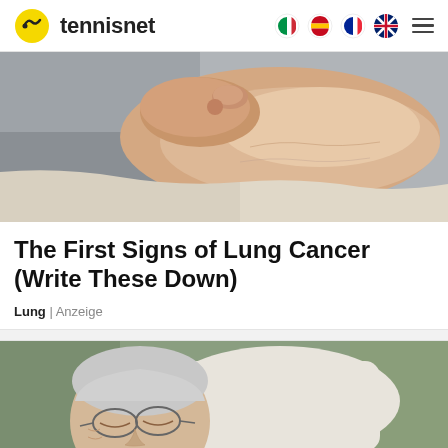tennisnet
[Figure (photo): Close-up photo of a person's ankle/lower leg with a hand pressing on it, against a grey fabric background]
The First Signs of Lung Cancer (Write These Down)
Lung | Anzeige
[Figure (photo): Elderly man with grey hair and glasses sleeping or resting in a green armchair with a white pillow]